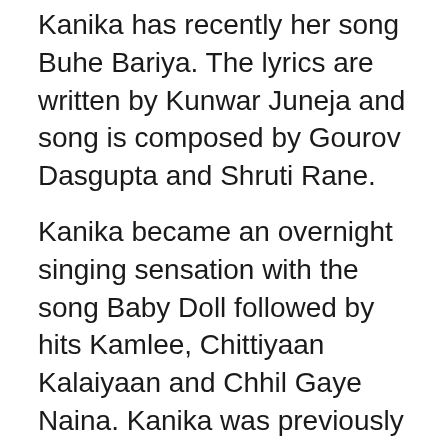Kanika has recently her song Buhe Bariya. The lyrics are written by Kunwar Juneja and song is composed by Gourov Dasgupta and Shruti Rane.
Kanika became an overnight singing sensation with the song Baby Doll followed by hits Kamlee, Chittiyaan Kalaiyaan and Chhil Gaye Naina. Kanika was previously married to NRI businessman Raj Chandok. They divorced in 2012. Kanika has three kids from her first marriage- Aayana, Samara, and Yuvraaj.
!function(f,b,e,v,n,t,s) {if(f.fbq)return;n=f.fbq=function() {n.callMethod?